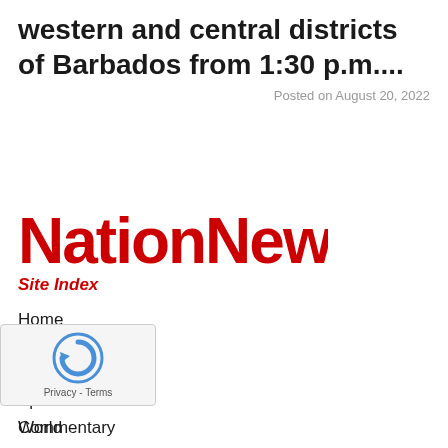western and central districts of Barbados from 1:30 p.m....
Posted on August 20, 2022
[Figure (logo): NationNews logo in bold red text]
Site Index
Home
News
Business
Sports
Commentary
Entertainment
World